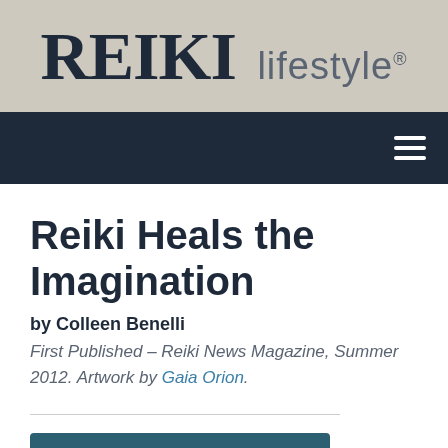REIKI lifestyle®
Reiki Heals the Imagination
by Colleen Benelli
First Published – Reiki News Magazine, Summer 2012. Artwork by Gaia Orion.
Download the Article PDF